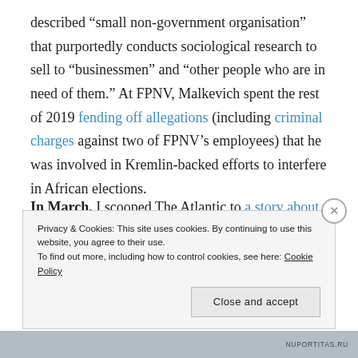described “small non-government organisation” that purportedly conducts sociological research to sell to “businessmen” and “other people who are in need of them.” At FPNV, Malkevich spent the rest of 2019 fending off allegations (including criminal charges against two of FPNV’s employees) that he was involved in Kremlin-backed efforts to interfere in African elections.
In March, I scooped The Atlantic to a story about
Privacy & Cookies: This site uses cookies. By continuing to use this website, you agree to their use.
To find out more, including how to control cookies, see here: Cookie Policy
Close and accept
NUPORTITAS.RU